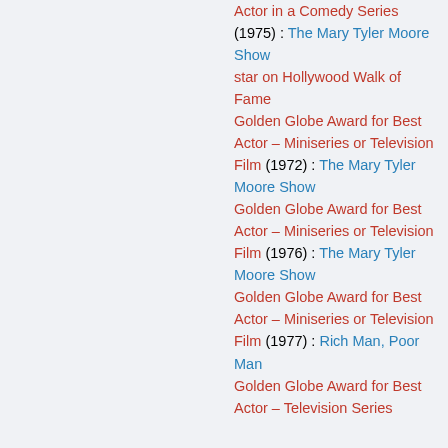Actor in a Comedy Series (1975) : The Mary Tyler Moore Show star on Hollywood Walk of Fame Golden Globe Award for Best Actor – Miniseries or Television Film (1972) : The Mary Tyler Moore Show Golden Globe Award for Best Actor – Miniseries or Television Film (1976) : The Mary Tyler Moore Show Golden Globe Award for Best Actor – Miniseries or Television Film (1977) : Rich Man, Poor Man Golden Globe Award for Best Actor – Television Series